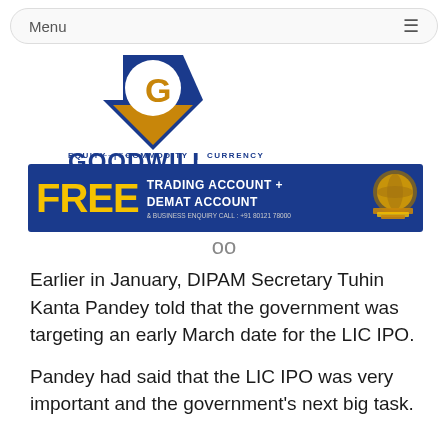Menu
[Figure (logo): Goodwill logo with blue diamond, gold G, and text GOODWILL EQUITY | COMMODITY | CURRENCY, plus a blue banner ad reading FREE TRADING ACCOUNT + DEMAT ACCOUNT & BUSINESS ENQUIRY CALL: +91 80121 78000]
oo
Earlier in January, DIPAM Secretary Tuhin Kanta Pandey told that the government was targeting an early March date for the LIC IPO.
Pandey had said that the LIC IPO was very important and the government's next big task.